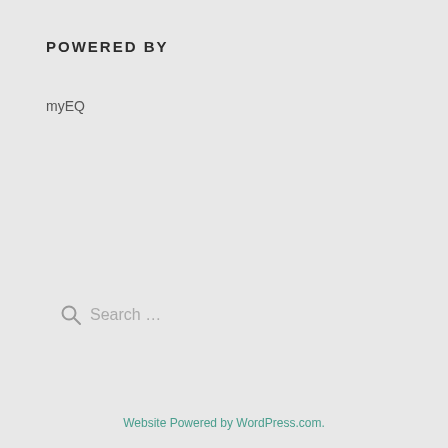POWERED BY
myEQ
Search …
Website Powered by WordPress.com.